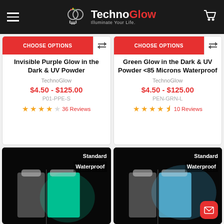TechnoGlow - Illuminate Your Life.
CHOOSE OPTIONS | Invisible Purple Glow in the Dark & UV Powder | TechnoGlow | $4.50 - $125.00 | P01-PPE-S | 36 Reviews | 4 stars
CHOOSE OPTIONS | Green Glow in the Dark & UV Powder <85 Microns Waterproof | TechnoGlow | $4.50 - $125.00 | PEN-GRN-L | 10 Reviews | 4.5 stars
[Figure (photo): Glow in the dark powder in a jar showing Standard and Waterproof labels, green glow]
[Figure (photo): Glow in the dark powder in a jar showing Standard and Waterproof labels, blue glow]